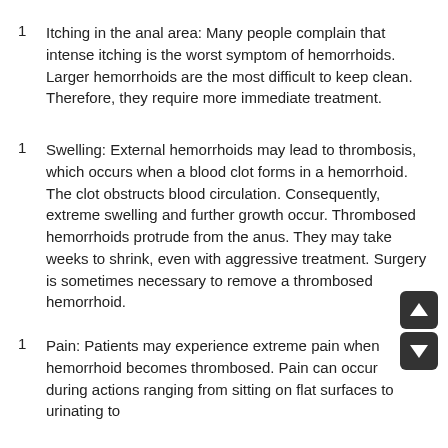Itching in the anal area: Many people complain that intense itching is the worst symptom of hemorrhoids. Larger hemorrhoids are the most difficult to keep clean. Therefore, they require more immediate treatment.
Swelling: External hemorrhoids may lead to thrombosis, which occurs when a blood clot forms in a hemorrhoid. The clot obstructs blood circulation. Consequently, extreme swelling and further growth occur. Thrombosed hemorrhoids protrude from the anus. They may take weeks to shrink, even with aggressive treatment. Surgery is sometimes necessary to remove a thrombosed hemorrhoid.
Pain: Patients may experience extreme pain when hemorrhoid becomes thrombosed. Pain can occur during actions ranging from sitting on flat surfaces to urinating to